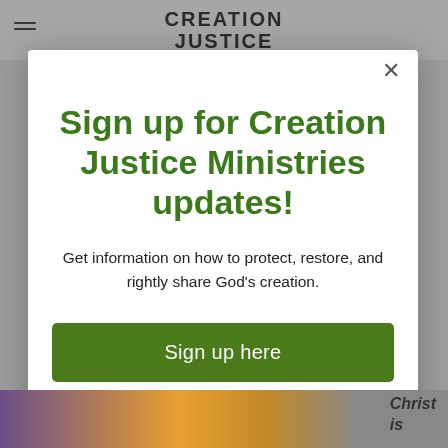CREATION JUSTICE
Sign up for Creation Justice Ministries updates!
Get information on how to protect, restore, and rightly share God's creation.
Sign up here